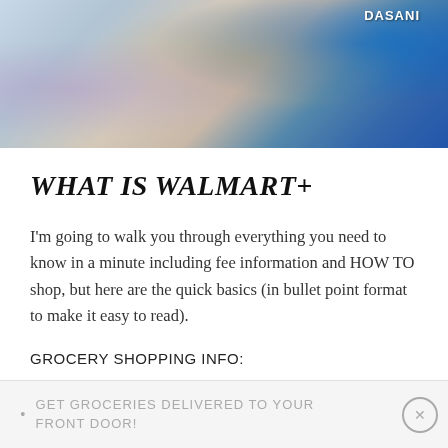[Figure (photo): Photo showing shopping items including clothing/scarves, a straw hat, and Dasani water bottles on a brick surface]
WHAT IS WALMART+
I'm going to walk you through everything you need to know in a minute including fee information and HOW TO shop, but here are the quick basics (in bullet point format to make it easy to read).
GROCERY SHOPPING INFO:
Up to 180,000 items available
GET GROCERIES DELIVERED TO YOUR FRONT DOOR!